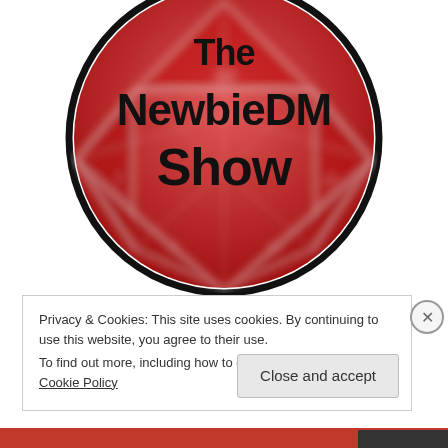[Figure (logo): The NewbieDM Show logo: a circular emblem with a blurred red 20-sided die (d20) in the background and bold black text reading 'The NewbieDM Show' overlaid on top. The circle has a thick black border.]
Privacy & Cookies: This site uses cookies. By continuing to use this website, you agree to their use.
To find out more, including how to control cookies, see here: Cookie Policy
Close and accept